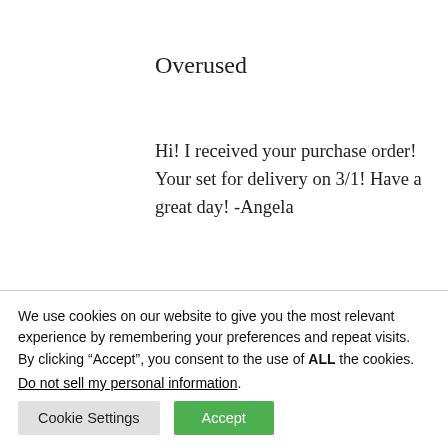Overused
Hi! I received your purchase order! Your set for delivery on 3/1! Have a great day! -Angela
Your not a fuckin' cheerleader nor are you 13. Quit inhaling helium and delete a few of them.
[Figure (illustration): Partial view of a dark bird/creature illustration at the bottom of the content area, with 'Underused' text label to the right]
We use cookies on our website to give you the most relevant experience by remembering your preferences and repeat visits. By clicking “Accept”, you consent to the use of ALL the cookies.
Do not sell my personal information.